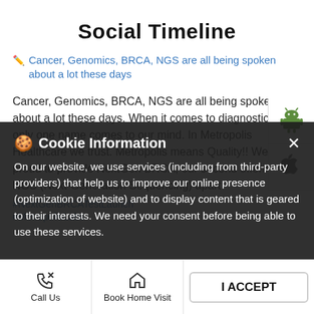Social Timeline
Cancer, Genomics, BRCA, NGS are all being spoken about a lot these days
Cancer, Genomics, BRCA, NGS are all being spoken about a lot these days. When it comes to diagnostic tests, only one name comes to our mind. In Metropolis Healthcare we trust. Metropolis means Quality!! We are proud to provide NextGen BRCA, our second offering in NGS (Next-Generation Sequencing) apart
#NextGenBRCATestLaunch
#MetropolisLabs
Cookie Information
On our website, we use services (including from third-party providers) that help us to improve our online presence (optimization of website) and to display content that is geared to their interests. We need your consent before being able to use these services.
I ACCEPT
Call Us | Book Home Visit | Directions